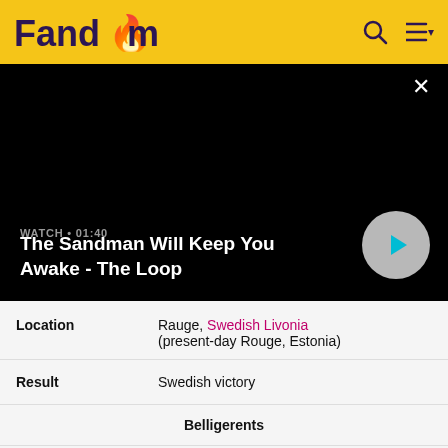Fandom
[Figure (screenshot): Black video player area showing a video thumbnail with title 'The Sandman Will Keep You Awake - The Loop', WATCH • 01:40 label, and a circular play button]
| Location | Rauge, Swedish Livonia (present-day Rouge, Estonia) |
| Result | Swedish victory |
| Belligerents |  |